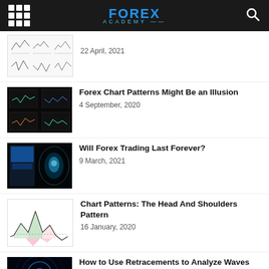FOREX ACADEMY
[Figure (illustration): Small chart patterns thumbnail showing triangles and zigzag patterns on white background]
22 April, 2021
[Figure (photo): Dark background with multiple forex chart screens]
Forex Chart Patterns Might Be an Illusion
4 September, 2020
[Figure (photo): Blue glowing digital face/screen in dark background]
Will Forex Trading Last Forever?
9 March, 2021
[Figure (illustration): Chart showing head and shoulders pattern with green and red areas]
Chart Patterns: The Head And Shoulders Pattern
16 January, 2020
[Figure (photo): Blue circular light waves on dark background]
How to Use Retracements to Analyze Waves Part 2